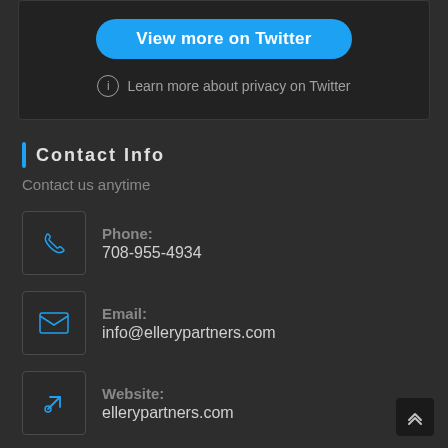[Figure (screenshot): Twitter embed widget top section with 'View more on Twitter' blue rounded button and 'Learn more about privacy on Twitter' text with info icon, on dark background]
Contact Info
Contact us anytime
Phone: 708-955-4934
Email: info@ellerypartners.com
Website: ellerypartners.com